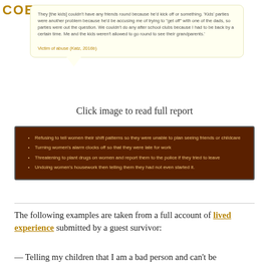COERCIVE CONTROL
They [the kids] couldn't have any friends round because he'd kick off or something. 'Kids' parties were another problem because he'd be accusing me of trying to "get off" with one of the dads, so parties were out the question. We couldn't do any after school clubs because I had to be back by a certain time. Me and the kids weren't allowed to go round to see their grandparents.'
Victim of abuse (Katz, 2016b)
Click image to read full report
Refusing to tell women their shift patterns so they were unable to plan seeing friends or childcare
Turning women's alarm clocks off so that they were late for work
Threatening to plant drugs on women and report them to the police if they tried to leave
Undoing women's housework then telling them they had not even started it.
The following examples are taken from a full account of lived experience submitted by a guest survivor:
— Telling my children that I am a bad person and can't be